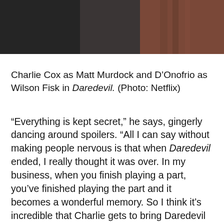[Figure (photo): Partial photo of two people, one in dark clothing on the left and one in reddish-brown on the right, cropped at the top of the page.]
Charlie Cox as Matt Murdock and D'Onofrio as Wilson Fisk in Daredevil. (Photo: Netflix)
“Everything is kept secret,” he says, gingerly dancing around spoilers. “All I can say without making people nervous is that when Daredevil ended, I really thought it was over. In my business, when you finish playing a part, you’ve finished playing the part and it becomes a wonderful memory. So I think it’s incredible that Charlie gets to bring Daredevil back in whatever iteration that they decide, and I’m happy that I got to play my character in Hawkeye, because it’s a great character."